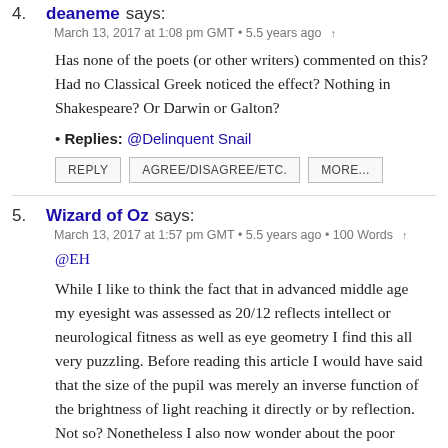4. deaneme says:
March 13, 2017 at 1:08 pm GMT • 5.5 years ago ↑
Has none of the poets (or other writers) commented on this? Had no Classical Greek noticed the effect? Nothing in Shakespeare? Or Darwin or Galton?
• Replies: @Delinquent Snail
REPLY   AGREE/DISAGREE/ETC.   MORE...
5. Wizard of Oz says:
March 13, 2017 at 1:57 pm GMT • 5.5 years ago • 100 Words ↑
@EH
While I like to think the fact that in advanced middle age my eyesight was assessed as 20/12 reflects intellect or neurological fitness as well as eye geometry I find this all very puzzling. Before reading this article I would have said that the size of the pupil was merely an inverse function of the brightness of light reaching it directly or by reflection. Not so? Nonetheless I also now wonder about the poor eyesight severe myopia and prism